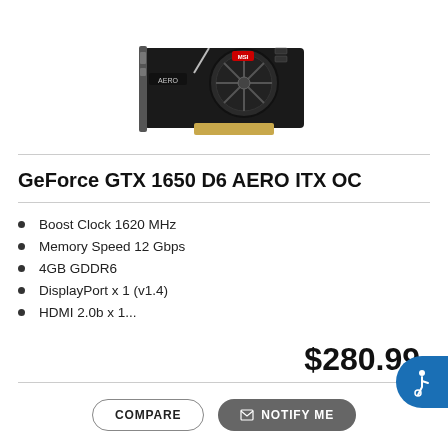[Figure (photo): MSI AERO branded GeForce GTX 1650 graphics card with single fan cooler, viewed from above at a slight angle]
GeForce GTX 1650 D6 AERO ITX OC
Boost Clock 1620 MHz
Memory Speed 12 Gbps
4GB GDDR6
DisplayPort x 1 (v1.4)
HDMI 2.0b x 1...
$280.99